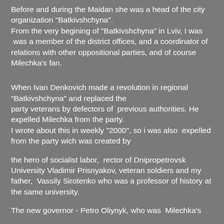Before and during the Maidan she was a head of the city organization "Batkivshchyna".
From the very begining of "Batkivshchyna" in Lviv, I was  was a member of the district offices, and a coordinator of relations with other oppositional parties, and of course Milechka's fan.
When Ivan Denkovich made a revolution in regional "Batkivshchyna" and replaced the party veterans by defectors of  previous authorities. He expelled Milechka from the party.
I wrote about this in weekly "2000", so i was also  expelled from the party wich was created by
the hero of socialist labor,  rector of Dnipropetrovsk University Vladimir Prisnyakov, veteran soldiers and my father,  Vassily Sirotenko who was a professor of history at the same university.
The new governor - Petro Oliynyk, who was  Milechka's